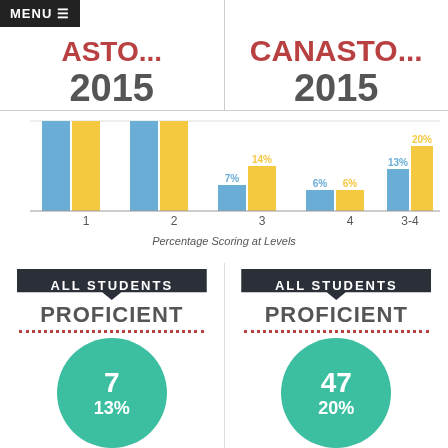MENU
ASTO...
CANASTO...
2015
2015
[Figure (grouped-bar-chart): Percentage Scoring at Levels]
Percentage Scoring at Levels
ALL STUDENTS
PROFICIENT
7
13%
ALL STUDENTS
PROFICIENT
47
20%